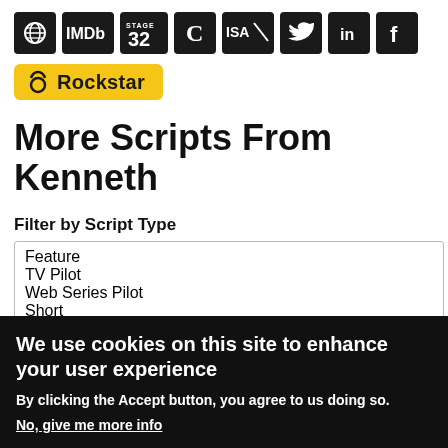[Figure (other): Row of social/platform icon buttons: globe, IMDb, Stage 32, Coverfly (C), ISA, Twitter, LinkedIn, Facebook — each in a black rounded square]
[Figure (other): Yellow Rockstar badge with Taurus symbol and bold text 'Rockstar']
More Scripts From Kenneth
Filter by Script Type
Feature
TV Pilot
Web Series Pilot
Short
We use cookies on this site to enhance your user experience
By clicking the Accept button, you agree to us doing so.
No, give me more info